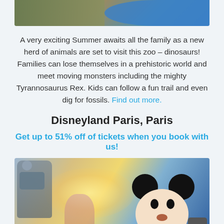[Figure (photo): Top portion of a photo showing a dinosaur/animal figure and a person in a blue shirt at a zoo]
A very exciting Summer awaits all the family as a new herd of animals are set to visit this zoo – dinosaurs! Families can lose themselves in a prehistoric world and meet moving monsters including the mighty Tyrannosaurus Rex. Kids can follow a fun trail and even dig for fossils. Find out more.
Disneyland Paris, Paris
Get up to 51% off of tickets when you book with us!
[Figure (photo): Photo at Disneyland Paris showing Mickey Mouse character with a girl, with glowing light effects in the background]